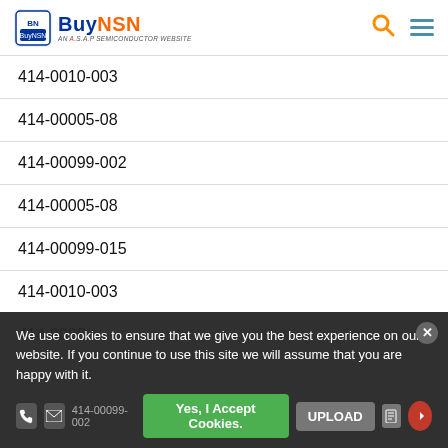BuyNSN - AN A.S.A.P SEMICONDUCTOR WEBSITE
| 414-0010-003 |
| 414-00005-08 |
| 414-00099-002 |
| 414-00005-08 |
| 414-00099-015 |
| 414-0010-003 |
| 414-000D |
| 414-00099-002 |
We use cookies to ensure that we give you the best experience on our website. If you continue to use this site we will assume that you are happy with it.